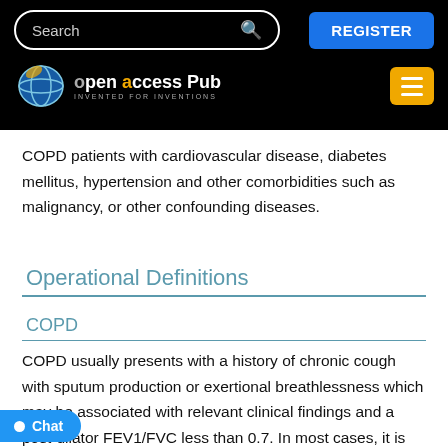[Figure (screenshot): Website navigation bar with black background showing a search box, REGISTER button, Open Access Pub logo with globe icon, and orange hamburger menu button]
COPD patients with cardiovascular disease, diabetes mellitus, hypertension and other comorbidities such as malignancy, or other confounding diseases.
Operational Definitions
COPD
COPD usually presents with a history of chronic cough with sputum production or exertional breathlessness which may be associated with relevant clinical findings and a post-dilator FEV1/FVC less than 0.7. In most cases, it is associated with smoking.